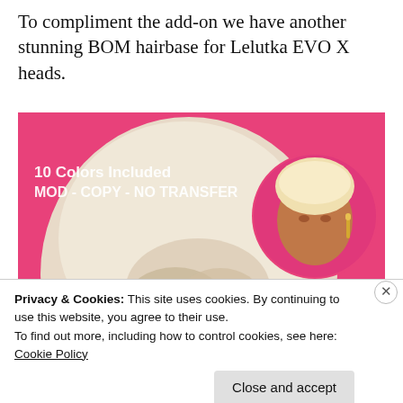To compliment the add-on we have another stunning BOM hairbase for Lelutka EVO X heads.
[Figure (photo): 3D rendered avatar head with blonde braided hairbase on pink background. Text reads '10 Colors Included MOD - COPY - NO TRANSFER' and 'BRAID & NO BRAID'. Inset circle shows a full face avatar with the no-braid version.]
Privacy & Cookies: This site uses cookies. By continuing to use this website, you agree to their use.
To find out more, including how to control cookies, see here: Cookie Policy
Close and accept